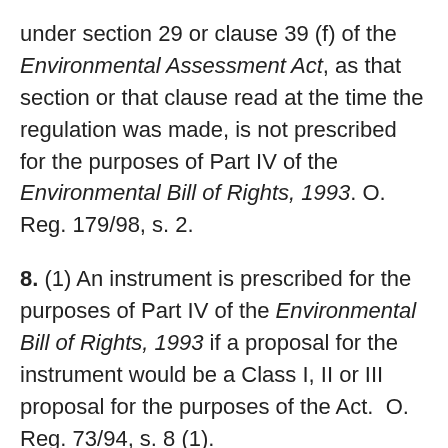under section 29 or clause 39 (f) of the Environmental Assessment Act, as that section or that clause read at the time the regulation was made, is not prescribed for the purposes of Part IV of the Environmental Bill of Rights, 1993. O. Reg. 179/98, s. 2.
8. (1) An instrument is prescribed for the purposes of Part IV of the Environmental Bill of Rights, 1993 if a proposal for the instrument would be a Class I, II or III proposal for the purposes of the Act.  O. Reg. 73/94, s. 8 (1).
(2) Despite subsection (1), an approval of an undertaking issued on or before November 15, 1994 under the Environmental Assessment Act is